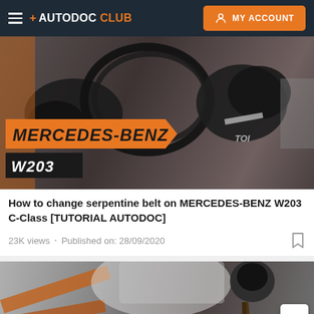+ AUTODOC CLUB  MY ACCOUNT
[Figure (screenshot): Thumbnail image showing mechanic hands with black gloves working on a car engine, with orange MERCEDES-BENZ badge and dark W203 badge overlay]
How to change serpentine belt on MERCEDES-BENZ W203 C-Class [TUTORIAL AUTODOC]
23K views • Published on: 28/09/2020
[Figure (photo): Thumbnail image showing car undercarriage on a lift with oil drain or fluid component visible, orange lift arms visible]